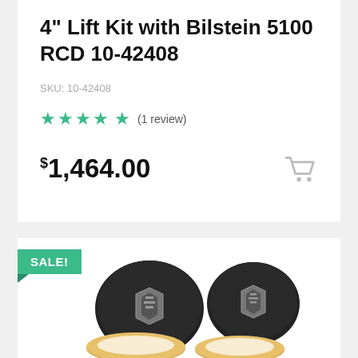4" Lift Kit with Bilstein 5100 RCD 10-42408
SKU: 10-42408
★★★★★ (1 review)
$1,464.00
[Figure (photo): Product photo showing two black circular emblems with Bilstein logo and two gold/tan 3M adhesive rings, shown on white background with SALE! badge in teal/green.]